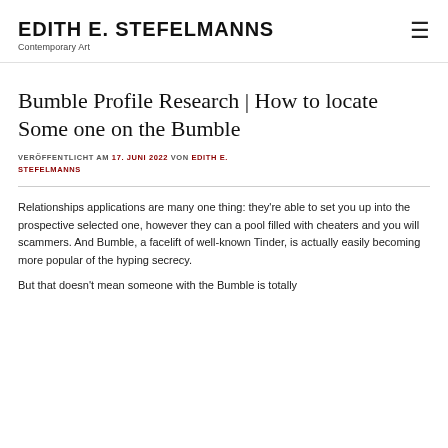EDITH E. STEFELMANNS
Contemporary Art
Bumble Profile Research | How to locate Some one on the Bumble
VERÖFFENTLICHT AM 17. JUNI 2022 VON EDITH E. STEFELMANNS
Relationships applications are many one thing: they're able to set you up into the prospective selected one, however they can a pool filled with cheaters and you will scammers. And Bumble, a facelift of well-known Tinder, is actually easily becoming more popular of the hyping secrecy.
But that doesn't mean someone with the Bumble is totally